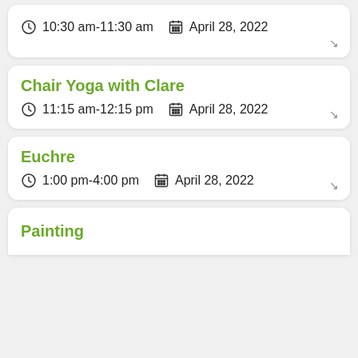10:30 am-11:30 am   April 28, 2022
Chair Yoga with Clare
11:15 am-12:15 pm   April 28, 2022
Euchre
1:00 pm-4:00 pm   April 28, 2022
Painting